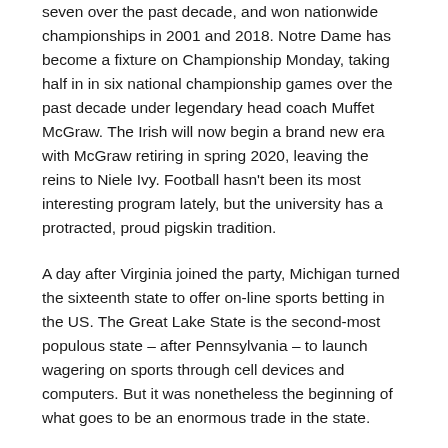seven over the past decade, and won nationwide championships in 2001 and 2018. Notre Dame has become a fixture on Championship Monday, taking half in in six national championship games over the past decade under legendary head coach Muffet McGraw. The Irish will now begin a brand new era with McGraw retiring in spring 2020, leaving the reins to Niele Ivy. Football hasn't been its most interesting program lately, but the university has a protracted, proud pigskin tradition.
A day after Virginia joined the party, Michigan turned the sixteenth state to offer on-line sports betting in the US. The Great Lake State is the second-most populous state – after Pennsylvania – to launch wagering on sports through cell devices and computers. But it was nonetheless the beginning of what goes to be an enormous trade in the state.